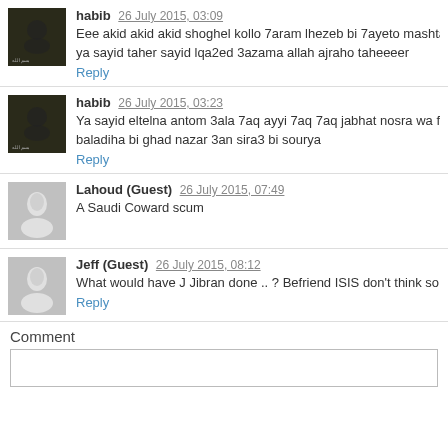habib 26 July 2015, 03:09 — Eee akid akid akid shoghel kollo 7aram lhezeb bi 7ayeto mashtaghal bel ya sayid taher sayid lqa2ed 3azama allah ajraho taheeeer
Reply
habib 26 July 2015, 03:23 — Ya sayid eltelna antom 3ala 7aq ayyi 7aq 7aq jabhat nosra wa fasa2el ok baladiha bi ghad nazar 3an sira3 bi sourya
Reply
Lahoud (Guest) 26 July 2015, 07:49 — A Saudi Coward scum
Jeff (Guest) 26 July 2015, 08:12 — What would have J Jibran done .. ? Befriend ISIS don't think so nor H Ha
Reply
Comment